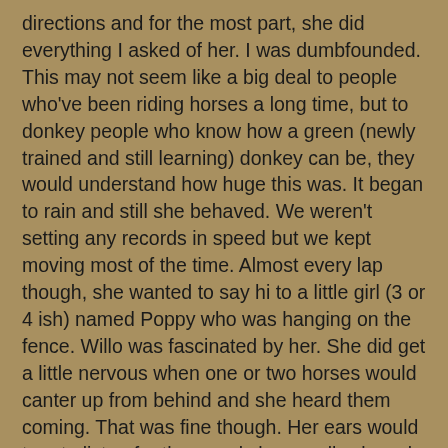directions and for the most part, she did everything I asked of her.  I was dumbfounded.  This may not seem like a big deal to people who've been riding horses a long time, but to donkey people who know how  a green (newly trained and still learning) donkey can be, they would understand how huge this was.  It began to rain and still she behaved.  We weren't setting any records in speed but we kept moving most of the time.  Almost every lap though, she wanted to say hi to a little girl (3 or 4 ish) named Poppy who was hanging on the fence.  Willo was fascinated by her.  She did get a little nervous when one or two horses would canter up from behind and she heard them coming.  That was fine though.  Her ears would turn to listen for them and she usually slowed and turned her butt toward them.
I should also add, Willo was very popular with my instructor's children.  The 15 year old daughter has been wanting a donkey and I heard her say to her mom, "see?, now can't we get a donkey?"  They all thought she was so cute.  I probably heard them say so more than 20 times.  Willo liked them too.  I took a picture of the 6 year old son holding her face but it didn't turn out.  I sure wish I had a video of us in the